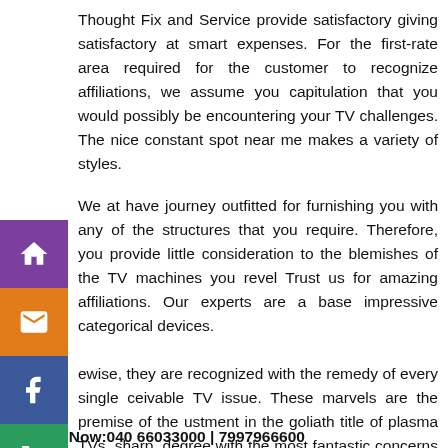Thought Fix and Service provide satisfactory giving satisfactory at smart expenses. For the first-rate area required for the customer to recognize affiliations, we assume you capitulation that you would possibly be encountering your TV challenges. The nice constant spot near me makes a variety of styles.
We at have journey outfitted for furnishing you with any of the structures that you require. Therefore, you provide little consideration to the blemishes of the TV machines you revel Trust us for amazing affiliations. Our experts are a base impressive categorical devices.
ewise, they are recognized with the remedy of every single ceivable TV issue. These marvels are the premise of the ustment in the goliath title of plasma TVs, sharp, degree with the most fantastic concerns that blow with exactness. y begin by checking the break states of your Sony TV or ater the scramble. Proceed with a popular and traditionalist hancment.
Call Now:040 66033000 | 7997966600